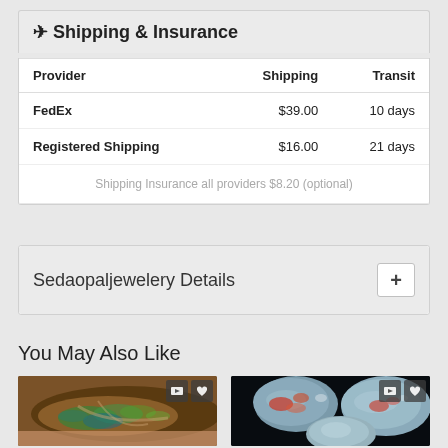✈ Shipping & Insurance
| Provider | Shipping | Transit |
| --- | --- | --- |
| FedEx | $39.00 | 10 days |
| Registered Shipping | $16.00 | 21 days |
| Shipping Insurance all providers $8.20 (optional) |  |  |
Sedaopaljewelery Details
You May Also Like
[Figure (photo): Close-up photo of a boulder opal gemstone with iridescent green and blue colors on brown matrix, held in hand]
[Figure (photo): Photo of three tumbled opal gemstones showing blue-gray body color with red and orange play-of-color flash, on black background]